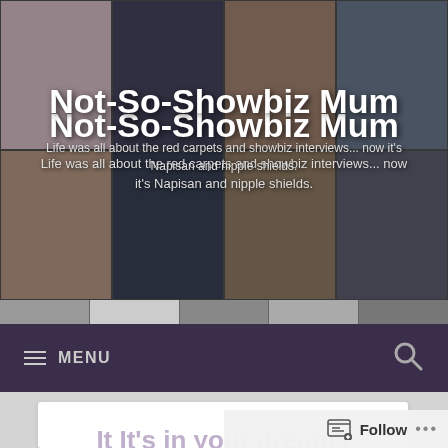Not-So-Showbiz Mum
Life was all about the red carpets and showbiz interviews... now it's Napisan and nipple shields.
MENU
TAG: BABY NOT SLEEPING
[Figure (screenshot): Partial white card and partial text reading 'It It's in your dreams']
Follow